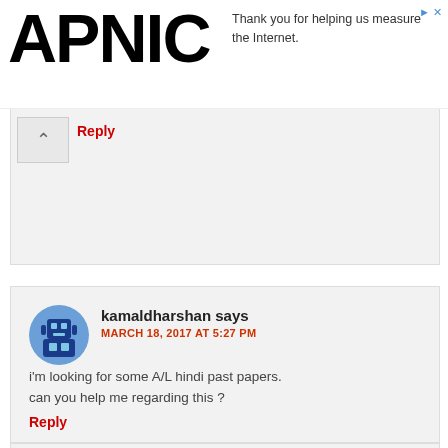APNIC — Thank you for helping us measure the Internet.
Reply
kamaldharshan says
MARCH 18, 2017 AT 5:27 PM
i'm looking for some A/L hindi past papers. can you help me regarding this ?
Reply
Nazira says